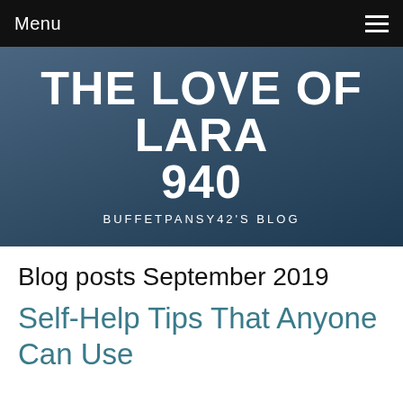Menu
THE LOVE OF LARA 940
BUFFETPANSY42'S BLOG
Blog posts September 2019
Self-Help Tips That Anyone Can Use